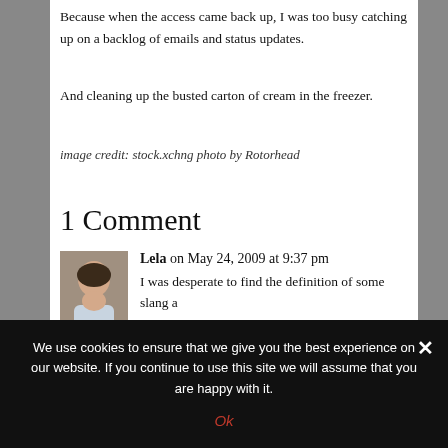Because when the access came back up, I was too busy catching up on a backlog of emails and status updates.
And cleaning up the busted carton of cream in the freezer.
image credit: stock.xchng photo by Rotorhead
1 Comment
Lela on May 24, 2009 at 9:37 pm
I was desperate to find the definition of some slang a
We use cookies to ensure that we give you the best experience on our website. If you continue to use this site we will assume that you are happy with it.